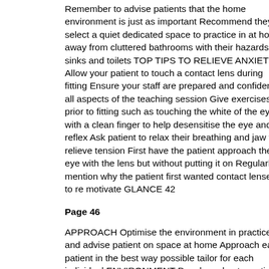Remember to advise patients that the home environment is just as important Recommend they select a quiet dedicated space to practice in at home away from cluttered bathrooms with their hazards of sinks and toilets TOP TIPS TO RELIEVE ANXIETY Allow your patient to touch a contact lens during fitting Ensure your staff are prepared and confident in all aspects of the teaching session Give exercises prior to fitting such as touching the white of the eye with a clean finger to help desensitise the eye and lid reflex Ask patient to relax their breathing and jaw to relieve tension First have the patient approach the eye with the lens but without putting it on Regularly mention why the patient first wanted contact lenses to re motivate GLANCE 42
Page 46
APPROACH Optimise the environment in practice and advise patient on space at home Approach each patient in the best way possible tailor for each individual ENVIRONMENT Develop a best practice process for teaching the required techniques PROCESS FIGURE 4 Three factors to